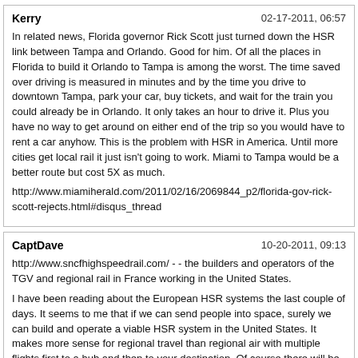Kerry | 02-17-2011, 06:57
In related news, Florida governor Rick Scott just turned down the HSR link between Tampa and Orlando. Good for him. Of all the places in Florida to build it Orlando to Tampa is among the worst. The time saved over driving is measured in minutes and by the time you drive to downtown Tampa, park your car, buy tickets, and wait for the train you could already be in Orlando. It only takes an hour to drive it. Plus you have no way to get around on either end of the trip so you would have to rent a car anyhow. This is the problem with HSR in America. Until more cities get local rail it just isn't going to work. Miami to Tampa would be a better route but cost 5X as much.
http://www.miamiherald.com/2011/02/16/2069844_p2/florida-gov-rick-scott-rejects.html#disqus_thread
CaptDave | 10-20-2011, 09:13
http://www.sncfhighspeedrail.com/ - - the builders and operators of the TGV and regional rail in France working in the United States.
I have been reading about the European HSR systems the last couple of days. It seems to me that if we can send people into space, surely we can build and operate a viable HSR system in the United States. It makes more sense for regional travel than regional air with multiple flights first to a hub and then to your destination. Of course there will be obstacles to overcome, but I believe the benefits far outweigh any potential problems.
Just the facts | 10-20-2011, 09:36
The problem with a national HSR network in the US is the distance it has to cover. People say it should be easy to connect OKC with Kansas City and Dallas. That is 500 miles. 500 miles from Paris covers all of Western Europe. London to Paris is closer than OKC to Dallas. The best bet for HSR in the US is to start with regional HSR networks, but they are super expensive. Also, we can't send people into space anymore. I would like to see the State start their own rail network.
https://sites.google.com/site/okcrail/